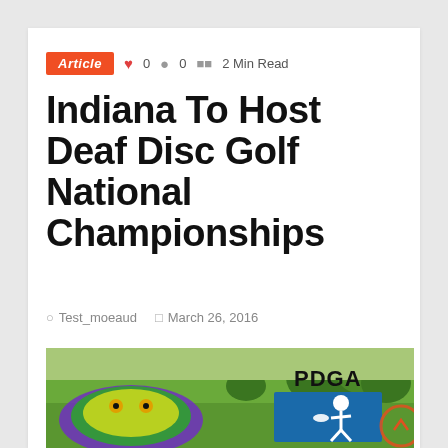Article  ♥ 0  💬 0  🗞 2 Min Read
Indiana To Host Deaf Disc Golf National Championships
Test_moeaud   March 26, 2016
[Figure (photo): Disc golf course photo with PDGA logo and colorful disc golf artwork]